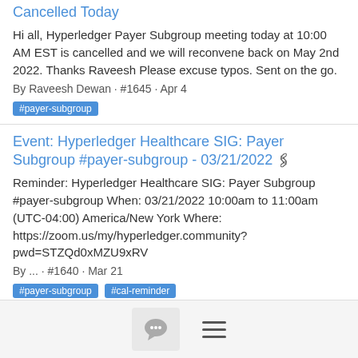Cancelled Today
Hi all, Hyperledger Payer Subgroup meeting today at 10:00 AM EST is cancelled and we will reconvene back on May 2nd 2022. Thanks Raveesh Please excuse typos. Sent on the go.
By Raveesh Dewan · #1645 · Apr 4
#payer-subgroup
Event: Hyperledger Healthcare SIG: Payer Subgroup #payer-subgroup - 03/21/2022 🖇
Reminder: Hyperledger Healthcare SIG: Payer Subgroup #payer-subgroup When: 03/21/2022 10:00am to 11:00am (UTC-04:00) America/New York Where: https://zoom.us/my/hyperledger.community?pwd=STZQd0xMZU9xRV
By ... · #1640 · Mar 21
#payer-subgroup #cal-reminder
Event: Hyperledger Healthcare SIG: Payer Subgroup #payer-subgroup - 03/07/2022 🖇